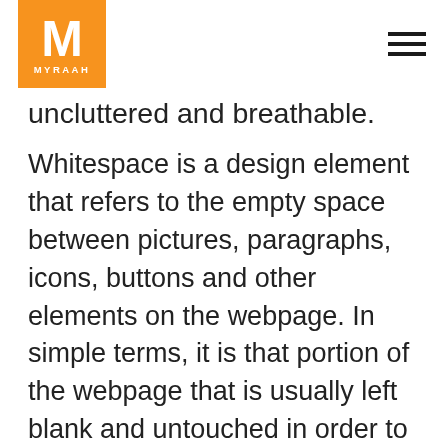[Figure (logo): Myraah logo — orange square with white letter M and text MYRAAH below]
uncluttered and breathable.
Whitespace is a design element that refers to the empty space between pictures, paragraphs, icons, buttons and other elements on the webpage. In simple terms, it is that portion of the webpage that is usually left blank and untouched in order to make the page more readable and easier to interpret.
Apple effectively utilizes whitespace in order to garner attention and impacts